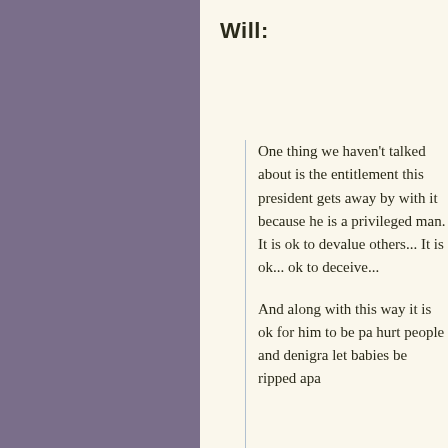Will:
One thing we haven't talked about is the entitlement this president gets away with it because he is a privileged man. It is ok to devalue others... It is ok... ok to deceive...
And along with this way it is ok for him to be pa- hurt people and denigra- let babies be ripped apa- [continuation cut off]